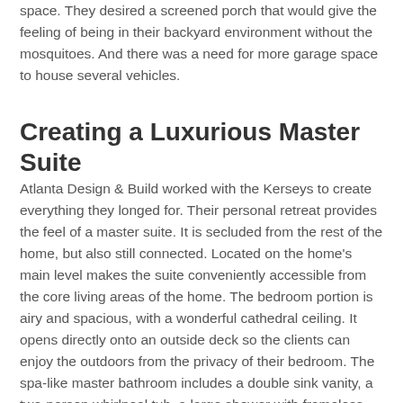space. They desired a screened porch that would give the feeling of being in their backyard environment without the mosquitoes. And there was a need for more garage space to house several vehicles.
Creating a Luxurious Master Suite
Atlanta Design & Build worked with the Kerseys to create everything they longed for. Their personal retreat provides the feel of a master suite. It is secluded from the rest of the home, but also still connected. Located on the home's main level makes the suite conveniently accessible from the core living areas of the home. The bedroom portion is airy and spacious, with a wonderful cathedral ceiling. It opens directly onto an outside deck so the clients can enjoy the outdoors from the privacy of their bedroom. The spa-like master bathroom includes a double sink vanity, a two-person whirlpool tub, a large shower with frameless glass doors and a built-in bench. The large walk-in closet is highly functional with its bright overhead lighting and generous storage space.